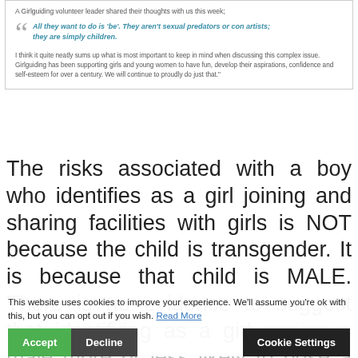A Girlguiding volunteer leader shared their thoughts with us this week;
All they want to do is 'be'. They aren't sexual predators or con artists; they are simply children.
I think it quite neatly sums up what is most important to keep in mind when discussing this complex issue. Girlguiding has been supporting girls and young women to have fun, develop their aspirations, confidence and self-esteem for over a century. We will continue to proudly do just that."
The risks associated with a boy who identifies as a girl joining and sharing facilities with girls is NOT because the child is transgender. It is because that child is MALE. There is no evidence to suggest that identifying as a girl makes a male more or less likely to pose a risk to girls in our community. It has been suggested whether child is a se... Derailing tactics like these do nothing to
This website uses cookies to improve your experience. We'll assume you're ok with this, but you can opt out if you wish. Read More